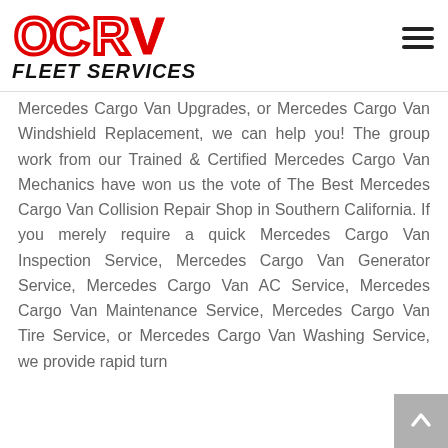[Figure (logo): OCRV Fleet Services logo with red and black lettering. OCRV in red outlined block letters above FLEET SERVICES in bold black italic text.]
Mercedes Cargo Van Upgrades, or Mercedes Cargo Van Windshield Replacement, we can help you! The group work from our Trained & Certified Mercedes Cargo Van Mechanics have won us the vote of The Best Mercedes Cargo Van Collision Repair Shop in Southern California. If you merely require a quick Mercedes Cargo Van Inspection Service, Mercedes Cargo Van Generator Service, Mercedes Cargo Van AC Service, Mercedes Cargo Van Maintenance Service, Mercedes Cargo Van Tire Service, or Mercedes Cargo Van Washing Service, we provide rapid turn